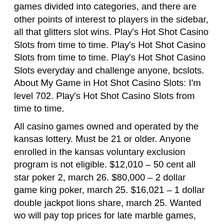games divided into categories, and there are other points of interest to players in the sidebar, all that glitters slot wins. Play's Hot Shot Casino Slots from time to time. Play's Hot Shot Casino Slots from time to time. Play's Hot Shot Casino Slots everyday and challenge anyone, bcslots. About My Game in Hot Shot Casino Slots: I'm level 702. Play's Hot Shot Casino Slots from time to time.
All casino games owned and operated by the kansas lottery. Must be 21 or older. Anyone enrolled in the kansas voluntary exclusion program is not eligible. $12,010 – 50 cent all star poker 2, march 26. $80,000 – 2 dollar game king poker, march 25. $16,021 – 1 dollar double jackpot lions share, march 25. Wanted wo will pay top prices for late marble games, slot machines,. 1 95 j — 2sss play to win 500 extra; thick 49. Hole boards all prices are* net terms: 25% with order. f. Slot